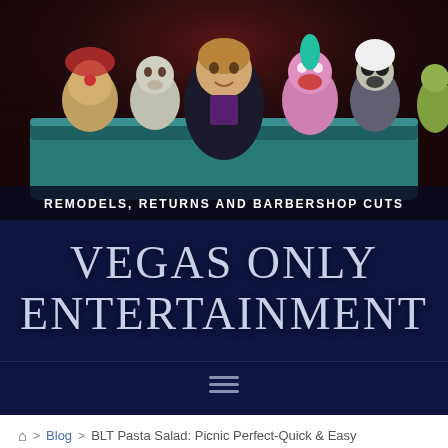[Figure (photo): A ventriloquist comedian sitting on a teal couch surrounded by five puppets/dummies against a dark brick wall background, with the caption 'REMODELS, RETURNS AND BARBERSHOP CUTS' overlaid at the bottom]
VEGAS ONLY ENTERTAINMENT
[Figure (other): Hamburger menu icon with three horizontal lines]
🏠 > Blog > BLT Pasta Salad: Picnic Perfect-Quick & Easy